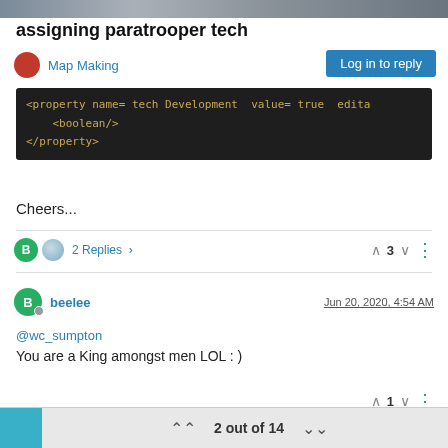[Figure (screenshot): Top banner image strip from a forum page]
assigning paratrooper tech
Map Making
Log in to reply
[Figure (screenshot): Dark code block showing XML: <property name= tech Development  value= true  edita  <boolean/>  </property>]
Cheers...
2 Replies  3
beelee   Jun 20, 2020, 4:54 AM
@wc_sumpton
You are a King amongst men LOL : )
1
2 out of 14